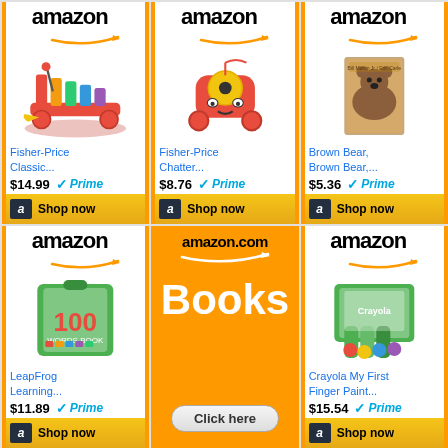[Figure (screenshot): Amazon product card: Fisher-Price Classic Xylophone, $14.99, Prime, Shop now button]
[Figure (screenshot): Amazon product card: Fisher-Price Chatter telephone toy, $8.76, Prime, Shop now button]
[Figure (screenshot): Amazon product card: Brown Bear, Brown Bear book, $5.36, Prime, Shop now button]
[Figure (screenshot): Amazon product card: LeapFrog Learning 100 Words book, $11.89, Prime, Shop now button]
[Figure (screenshot): Amazon.com Books advertisement banner with Click here button]
[Figure (screenshot): Amazon product card: Crayola My First Finger Paint, $15.54, Prime, Shop now button]